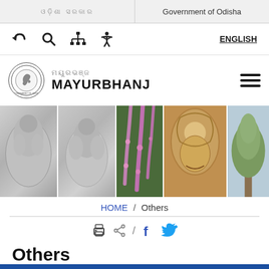ଓଡ଼ିଶା ସରକାର / Government of Odisha
[Figure (screenshot): Navigation icon bar with back, search, sitemap, accessibility, and ENGLISH language toggle]
[Figure (logo): Mayurbhanj district government logo seal with horse emblem, Odia text and MAYURBHANJ text]
[Figure (photo): Banner with five images: two stone deity sculptures, hanging pink flowers, painted temple mural, and a tree]
HOME / Others
[Figure (infographic): Share bar with print icon, share icon, slash, Facebook f icon, and Twitter bird icon]
Others